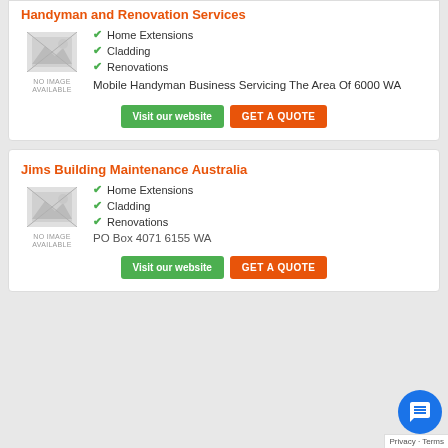Handyman and Renovation Services
Home Extensions
Cladding
Renovations
Mobile Handyman Business Servicing The Area Of 6000 WA
[Figure (other): No image available placeholder icon]
Visit our website
GET A QUOTE
Jims Building Maintenance Australia
Home Extensions
Cladding
Renovations
PO Box 4071 6155 WA
[Figure (other): No image available placeholder icon]
Visit our website
GET A QUOTE